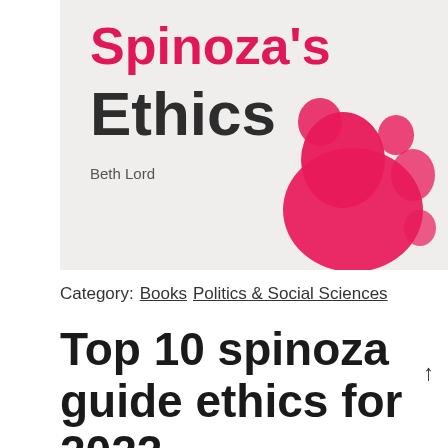[Figure (illustration): Book cover for Spinoza's Ethics by Beth Lord, with pink/crimson title text and an abstract pink floral or figure illustration on the right side, on a light beige-grey background]
Category:  Books  Politics & Social Sciences
Top 10 spinoza guide ethics for 2022